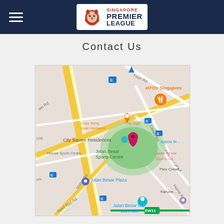Singapore Premier League - Contact Us
Contact Us
[Figure (map): Google Maps view showing Jalan Besar Sports Centre area in Singapore, with surrounding streets including Foch Rd, Cavan Rd, King George's Ave, Horne Rd, Syed Alwi Rd, Mattar Rd. Points of interest include Jalan Besar Sports Centre (pinned), Jalan Besar CC, Jalan Besar Plaza, City Square Residences, Chye Seng Huat Hardware, The Gym, elTOV Singapore, Aperia Mall, Pico Creative, Karunevehi, Lavender MRT EW11. Bus stop icons visible.]